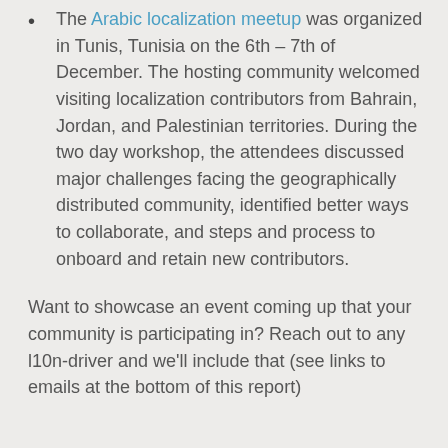The Arabic localization meetup was organized in Tunis, Tunisia on the 6th – 7th of December. The hosting community welcomed visiting localization contributors from Bahrain, Jordan, and Palestinian territories. During the two day workshop, the attendees discussed major challenges facing the geographically distributed community, identified better ways to collaborate, and steps and process to onboard and retain new contributors.
Want to showcase an event coming up that your community is participating in? Reach out to any l10n-driver and we'll include that (see links to emails at the bottom of this report)